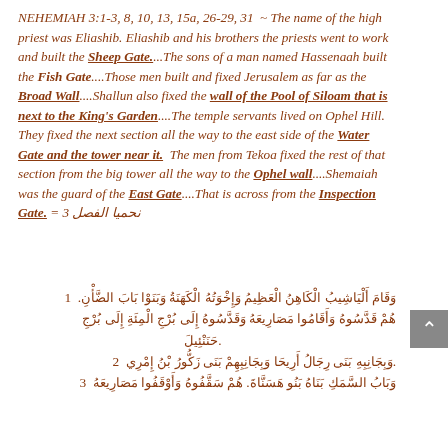NEHEMIAH 3:1-3, 8, 10, 13, 15a, 26-29, 31  ~ The name of the high priest was Eliashib. Eliashib and his brothers the priests went to work and built the Sheep Gate....The sons of a man named Hassenaah built the Fish Gate....Those men built and fixed Jerusalem as far as the Broad Wall....Shallun also fixed the wall of the Pool of Siloam that is next to the King's Garden....The temple servants lived on Ophel Hill. They fixed the next section all the way to the east side of the Water Gate and the tower near it.  The men from Tekoa fixed the rest of that section from the big tower all the way to the Ophel wall....Shemaiah was the guard of the East Gate....That is across from the Inspection Gate. = 3 نحميا الفصل
1  وَقَامَ أَلْيَاشِيبُ الْكَاهِنُ الْعَظِيمُ وَإِخْوَتُهُ الْكَهَنَةُ وَبَنَوْا بَابَ الضَّأْنِ. هُمْ قَدَّسُوهُ وَأَقَامُوا مَصَارِيعَهُ وَقَدَّسُوهُ إِلَى بُرْجِ الْمِئَةِ إِلَى بُرْجِ حَنَنْئِيلَ.
2  وَبِجَانِبِهِ بَنَى رِجَالُ أَرِيحَا وَبِجَانِبِهِمْ بَنَى زَكُّورُ بْنُ إِمْرِي.
3  وَبَابُ السَّمَكِ بَنَاهُ بَنُو هَسَنَّاةَ. هُمْ سَقَّفُوهُ وَأَوْقَفُوا مَصَارِيعَهُ